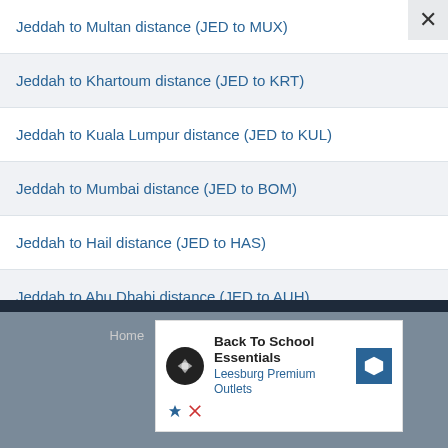Jeddah to Multan distance (JED to MUX)
Jeddah to Khartoum distance (JED to KRT)
Jeddah to Kuala Lumpur distance (JED to KUL)
Jeddah to Mumbai distance (JED to BOM)
Jeddah to Hail distance (JED to HAS)
Jeddah to Abu Dhabi distance (JED to AUH)
Jeddah to Nairobi distance (JED to NBO)
Home ... tor.com
[Figure (screenshot): Advertisement banner: Back To School Essentials - Leesburg Premium Outlets]